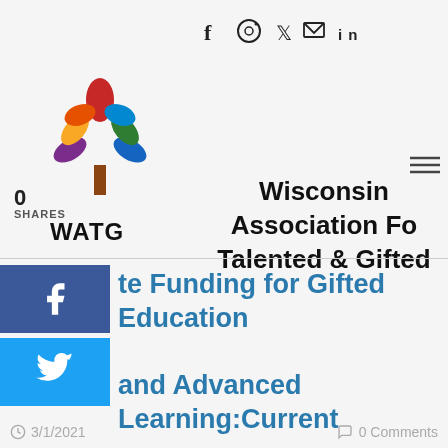f  ○  ✓  ✉  in
[Figure (logo): WATG colorful tree logo with multi-colored leaves (red, orange, yellow, green, blue, purple) above WATG text]
Wisconsin Association For Talented & Gifted
0
SHARES
te Funding for Gifted Education and Advanced Learning:Current Status and Future Plans
3/1/2021    0 Comments